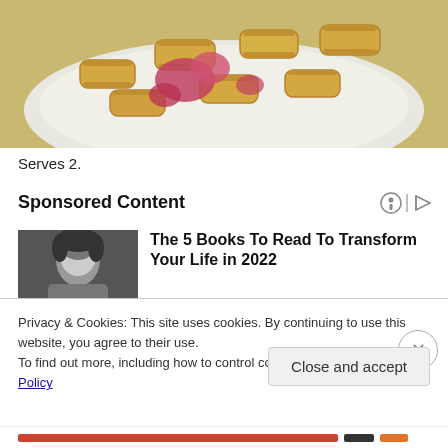[Figure (photo): Close-up photo of pasta (rigatoni) with pink/red sauce on a white plate]
Serves 2.
Sponsored Content
[Figure (photo): Black and white photo of a person's face/hair]
The 5 Books To Read To Transform Your Life in 2022
Privacy & Cookies: This site uses cookies. By continuing to use this website, you agree to their use.
To find out more, including how to control cookies, see here: Cookie Policy
Close and accept